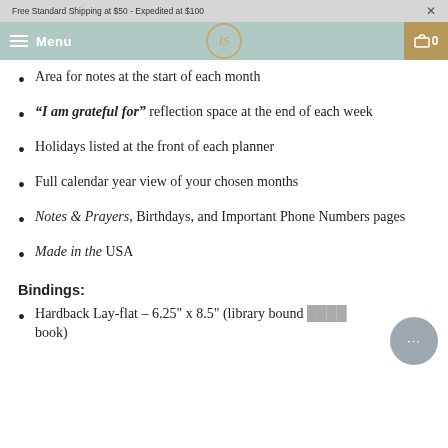Free Standard Shipping at $50 - Expedited at $100
Menu | [logo] | Cart 0
Area for notes at the start of each month
"I am grateful for" reflection space at the end of each week
Holidays listed at the front of each planner
Full calendar year view of your chosen months
Notes & Prayers, Birthdays, and Important Phone Numbers pages
Made in the USA
Bindings:
Hardback Lay-flat – 6.25" x 8.5" (library bound [book)